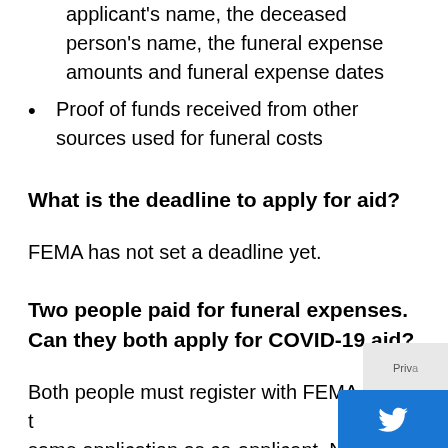Funeral expenses documents with the applicant's name, the deceased person's name, the funeral expense amounts and funeral expense dates
Proof of funds received from other sources used for funeral costs
What is the deadline to apply for aid?
FEMA has not set a deadline yet.
Two people paid for funeral expenses. Can they both apply for COVID-19 aid?
Both people must register with FEMA under the same application as co-applicant. No more than